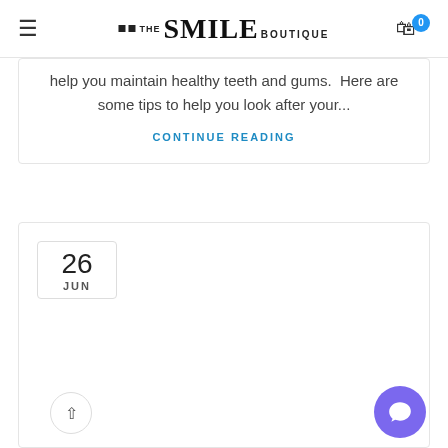THE SMILE BOUTIQUE
help you maintain healthy teeth and gums.  Here are some tips to help you look after your...
CONTINUE READING
26 JUN